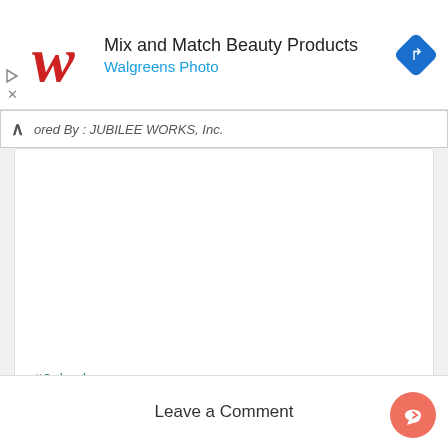[Figure (screenshot): Walgreens ad banner with red cursive W logo, text 'Mix and Match Beauty Products' and 'Walgreens Photo' in blue, and a blue diamond turn arrow icon on the right]
ored By : JUBILEE WORKS, Inc.
#Calendar
Recommended for You
Leave a Comment